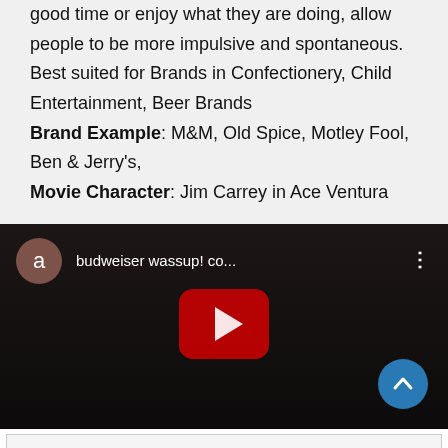good time or enjoy what they are doing, allow people to be more impulsive and spontaneous. Best suited for Brands in Confectionery, Child Entertainment, Beer Brands Brand Example: M&M, Old Spice, Motley Fool, Ben & Jerry's, Movie Character: Jim Carrey in Ace Ventura
[Figure (screenshot): YouTube video embed showing 'budweiser wassup! co...' with avatar circle labeled 'a', YouTube play button, and a blue scroll-up button]